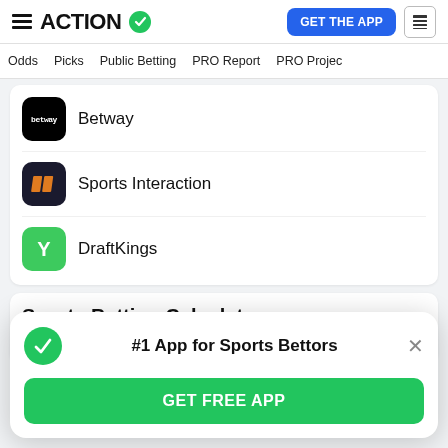ACTION — GET THE APP
Odds | Picks | Public Betting | PRO Report | PRO Project
Betway
Sports Interaction
DraftKings
Sports Betting Calculators
Betting Odds Calculator
#1 App for Sports Bettors
GET FREE APP